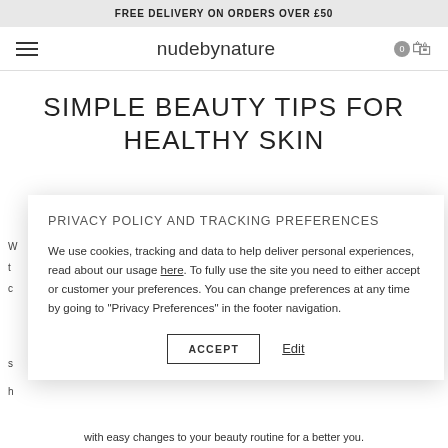FREE DELIVERY ON ORDERS OVER £50
[Figure (screenshot): Nude by Nature logo with hamburger menu on left and cart icon on right]
SIMPLE BEAUTY TIPS FOR HEALTHY SKIN
PRIVACY POLICY AND TRACKING PREFERENCES
We use cookies, tracking and data to help deliver personal experiences, read about our usage here. To fully use the site you need to either accept or customer your preferences. You can change preferences at any time by going to "Privacy Preferences" in the footer navigation.
ACCEPT  Edit
with easy changes to your beauty routine for a better you.